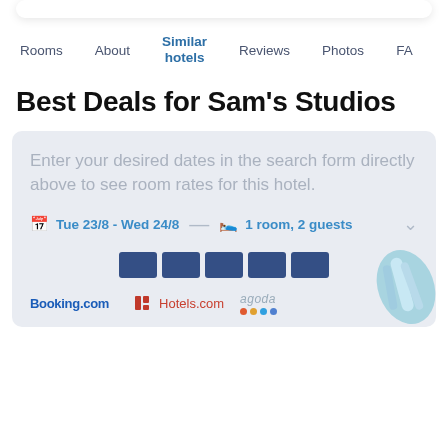Rooms | About | Similar hotels | Reviews | Photos | FA...
Best Deals for Sam's Studios
Enter your desired dates in the search form directly above to see room rates for this hotel.
Tue 23/8 - Wed 24/8   1 room, 2 guests
[Figure (screenshot): Loading bars and partner logos: Booking.com, Hotels.com, agoda]